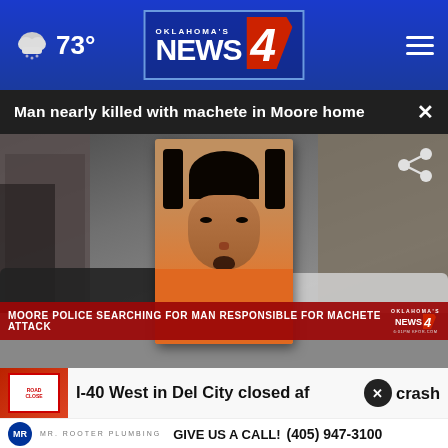73° Oklahoma's News 4
Man nearly killed with machete in Moore home
[Figure (screenshot): News broadcast screenshot showing mugshot of suspect in orange jumpsuit overlaid on apartment building background. Lower-third red banner reads: MOORE POLICE SEARCHING FOR MAN RESPONSIBLE FOR MACHETE ATTACK. Oklahoma's News 4 logo in lower right.]
I-40 West in Del City closed af[ter] crash
Mr. Rooter Plumbing — GIVE US A CALL! (405) 947-3100